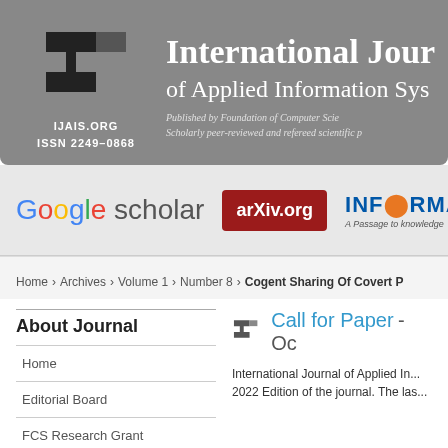[Figure (logo): IJAIS journal header banner with logo, journal title 'International Journal of Applied Information Systems', ISSN 2249-0868, and publisher info]
[Figure (logo): Indexing logos strip: Google Scholar, arXiv.org, and INFORMATICS]
Home > Archives > Volume 1 > Number 8 > Cogent Sharing Of Covert P
About Journal
Home
Editorial Board
FCS Research Grant
Call for Paper - Oc
International Journal of Applied In... 2022 Edition of the journal. The las...